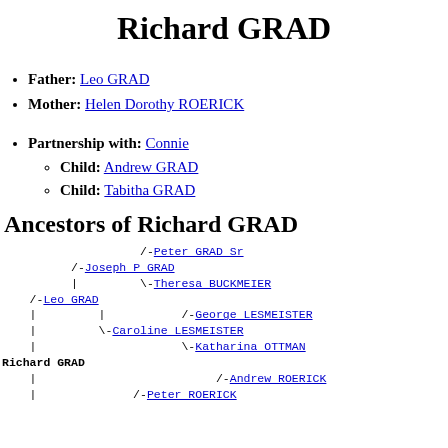Richard GRAD
Father: Leo GRAD
Mother: Helen Dorothy ROERICK
Partnership with: Connie
Child: Andrew GRAD
Child: Tabitha GRAD
Ancestors of Richard GRAD
/-Peter GRAD Sr
/-Joseph P GRAD
|        \-Theresa BUCKMEIER
/-Leo GRAD
|        |        /-George LESMEISTER
|        \-Caroline LESMEISTER
|                 \-Katharina OTTMAN
Richard GRAD
|                          /-Andrew ROERICK
|                /- Peter ROERICK